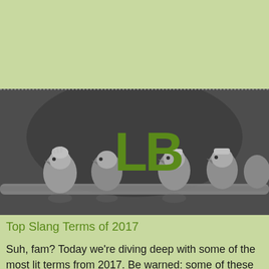[Figure (photo): Black and white photograph of several young kookaburra birds perched on a branch, with a large green bold 'LB' logo overlaid in the center of the image.]
Top Slang Terms of 2017
Suh, fam? Today we're diving deep with some of the most lit terms from 2017. Be warned: some of these